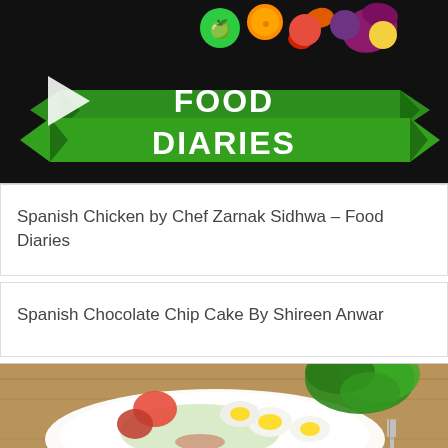[Figure (screenshot): Food Diaries video thumbnail with colorful fruit icons and green ribbon banner showing 'FOOD DIARIES' text on black background, with a white play button triangle on the left]
Spanish Chicken by Chef Zarnak Sidhwa – Food Diaries
Spanish Chocolate Chip Cake By Shireen Anwar
[Figure (photo): Photo of a Spanish salad on a white plate with boiled eggs, tomatoes, lettuce, and mixed vegetables on a wooden surface]